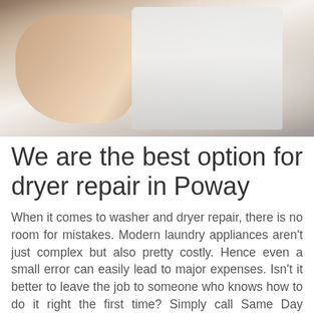[Figure (photo): A person's hands using a multimeter with red probes on a white home appliance (dryer/washer), with another white appliance visible to the right.]
We are the best option for dryer repair in Poway
When it comes to washer and dryer repair, there is no room for mistakes. Modern laundry appliances aren't just complex but also pretty costly. Hence even a small error can easily lead to major expenses. Isn't it better to leave the job to someone who knows how to do it right the first time? Simply call Same Day Appliance Repair Powayand we will provide you with a skilled expert in town. All pros we send are backed with years of hands-on experience. As they have dealt with a wide range of failures,